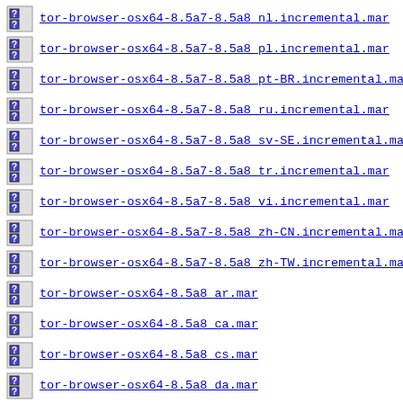tor-browser-osx64-8.5a7-8.5a8_nl.incremental.mar
tor-browser-osx64-8.5a7-8.5a8_pl.incremental.mar
tor-browser-osx64-8.5a7-8.5a8_pt-BR.incremental.mar
tor-browser-osx64-8.5a7-8.5a8_ru.incremental.mar
tor-browser-osx64-8.5a7-8.5a8_sv-SE.incremental.mar
tor-browser-osx64-8.5a7-8.5a8_tr.incremental.mar
tor-browser-osx64-8.5a7-8.5a8_vi.incremental.mar
tor-browser-osx64-8.5a7-8.5a8_zh-CN.incremental.mar
tor-browser-osx64-8.5a7-8.5a8_zh-TW.incremental.mar
tor-browser-osx64-8.5a8_ar.mar
tor-browser-osx64-8.5a8_ca.mar
tor-browser-osx64-8.5a8_cs.mar
tor-browser-osx64-8.5a8_da.mar
tor-browser-osx64-8.5a8_de.mar
tor-browser-osx64-8.5a8_el.mar
tor-browser-osx64-8.5a8_en-US.mar
tor-browser-osx64-8.5a8_es-ES.mar